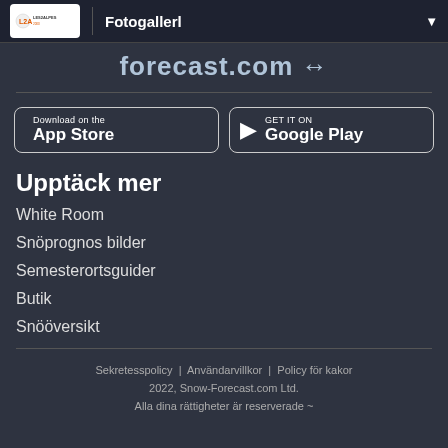Fotogallerl
forecast.com
[Figure (screenshot): Download on the App Store button]
[Figure (screenshot): Get it on Google Play button]
Upptäck mer
White Room
Snöprognos bilder
Semesterortsguider
Butik
Snööversikt
Sekretesspolicy | Användarvillkor | Policy för kakor
2022, Snow-Forecast.com Ltd.
Alla dina rättigheter är reserverade ~